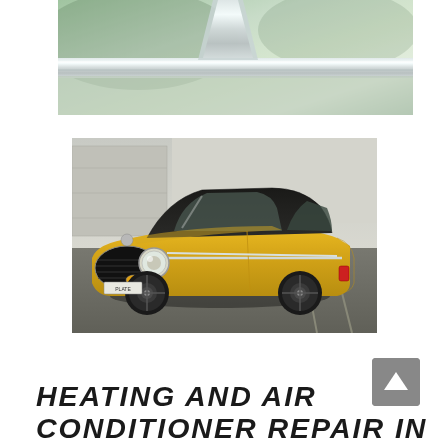[Figure (photo): Close-up partial photo of a classic car hood and chrome windshield trim strip, with green/mint painted body visible]
[Figure (photo): Classic yellow Volvo P1800 sports car photographed from the front-left angle, parked in a parking lot in front of a concrete/stucco building]
HEATING AND AIR CONDITIONER REPAIR IN